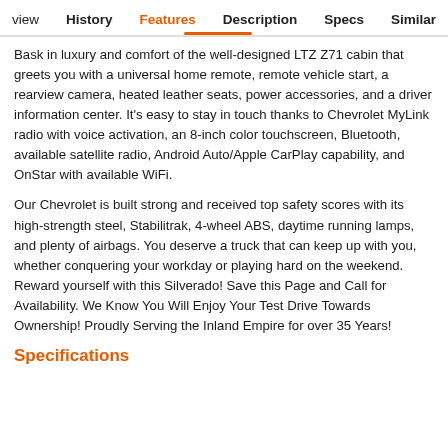view   History   Features   Description   Specs   Similar
Bask in luxury and comfort of the well-designed LTZ Z71 cabin that greets you with a universal home remote, remote vehicle start, a rearview camera, heated leather seats, power accessories, and a driver information center. It's easy to stay in touch thanks to Chevrolet MyLink radio with voice activation, an 8-inch color touchscreen, Bluetooth, available satellite radio, Android Auto/Apple CarPlay capability, and OnStar with available WiFi.
Our Chevrolet is built strong and received top safety scores with its high-strength steel, Stabilitrak, 4-wheel ABS, daytime running lamps, and plenty of airbags. You deserve a truck that can keep up with you, whether conquering your workday or playing hard on the weekend. Reward yourself with this Silverado! Save this Page and Call for Availability. We Know You Will Enjoy Your Test Drive Towards Ownership! Proudly Serving the Inland Empire for over 35 Years!
Specifications